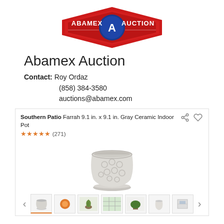[Figure (logo): Abamex Auction logo — red diamond shape with ABAMEX on left, AUCTION on right, blue circle with stylized A in center]
Abamex Auction
Contact: Roy Ordaz
(858) 384-3580
auctions@abamex.com
[Figure (screenshot): Product listing screenshot: Southern Patio Farrah 9.1 in. x 9.1 in. Gray Ceramic Indoor Pot, 5 stars (271 reviews), photo of gray textured ceramic pot with saucer, share and favorite icons, thumbnail gallery below]
Southern Patio Farrah 9.1 in. x 9.1 in. Gray Ceramic Indoor Pot ★★★★★ (271)